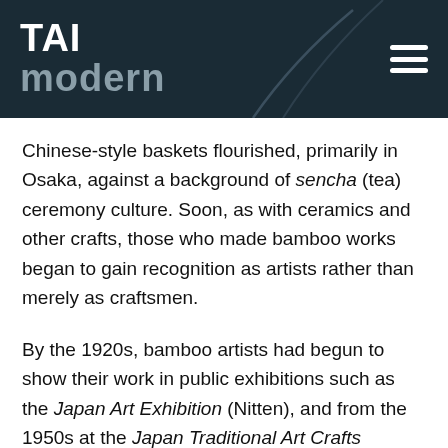TAI modern
Chinese-style baskets flourished, primarily in Osaka, against a background of sencha (tea) ceremony culture. Soon, as with ceramics and other crafts, those who made bamboo works began to gain recognition as artists rather than merely as craftsmen.
By the 1920s, bamboo artists had begun to show their work in public exhibitions such as the Japan Art Exhibition (Nitten), and from the 1950s at the Japan Traditional Art Crafts Exhibition, which demanded originality from participants.
A novelty introduced by artists working in the style